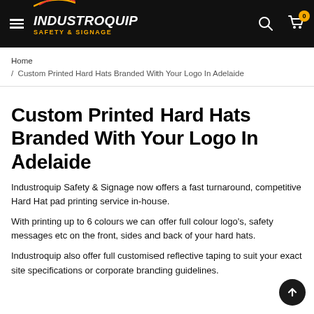INDUSTROQUIP SAFETY & SIGNAGE — navigation header with menu, search, and cart icons
Home / Custom Printed Hard Hats Branded With Your Logo In Adelaide
Custom Printed Hard Hats Branded With Your Logo In Adelaide
Industroquip Safety & Signage now offers a fast turnaround, competitive Hard Hat pad printing service in-house.
With printing up to 6 colours we can offer full colour logo's, safety messages etc on the front, sides and back of your hard hats.
Industroquip also offer full customised reflective taping to suit your exact site specifications or corporate branding guidelines.